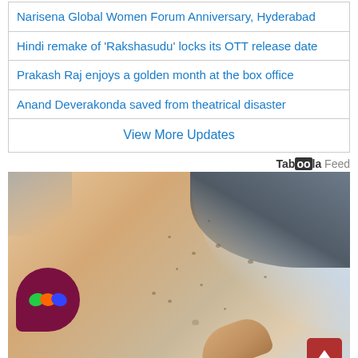Narisena Global Women Forum Anniversary, Hyderabad
Hindi remake of 'Rakshasudu' locks its OTT release date
Prakash Raj enjoys a golden month at the box office
Anand Deverakonda saved from theatrical disaster
View More Updates
Taboola Feed
[Figure (photo): Close-up photo of a person's arm showing skin with dark spots/blemishes, with a finger pointing at the skin. A colorful logo bubble is visible at bottom-left and an up arrow button at bottom-right.]